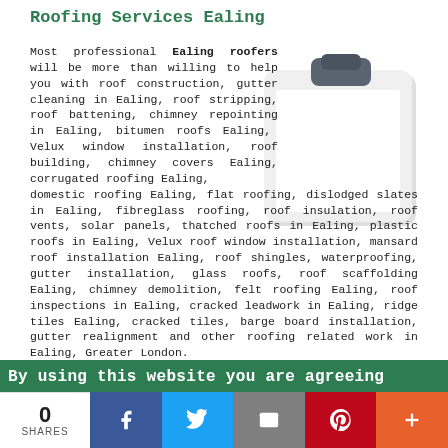Roofing Services Ealing
Most professional Ealing roofers will be more than willing to help you with roof construction, gutter cleaning in Ealing, roof stripping, roof battening, chimney repointing in Ealing, bitumen roofs Ealing, Velux window installation, roof building, chimney covers Ealing, corrugated roofing Ealing, domestic roofing Ealing, flat roofing, dislodged slates in Ealing, fibreglass roofing, roof insulation, roof vents, solar panels, thatched roofs in Ealing, plastic roofs in Ealing, Velux roof window installation, mansard roof installation Ealing, roof shingles, waterproofing, gutter installation, glass roofs, roof scaffolding Ealing, chimney demolition, felt roofing Ealing, roof inspections in Ealing, cracked leadwork in Ealing, ridge tiles Ealing, cracked tiles, barge board installation, gutter realignment and other roofing related work in Ealing, Greater London.
[Figure (illustration): Clipboard icon illustration]
By using this website you are agreeing